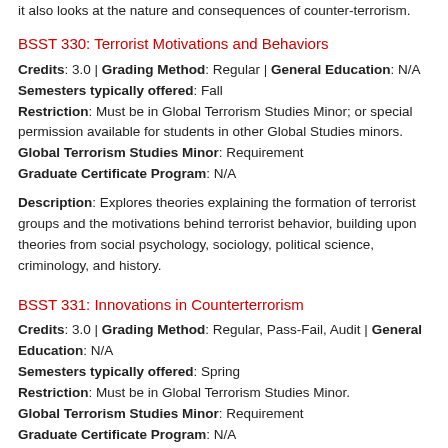it also looks at the nature and consequences of counter-terrorism.
BSST 330: Terrorist Motivations and Behaviors
Credits: 3.0 | Grading Method: Regular | General Education: N/A
Semesters typically offered: Fall
Restriction: Must be in Global Terrorism Studies Minor; or special permission available for students in other Global Studies minors.
Global Terrorism Studies Minor: Requirement
Graduate Certificate Program: N/A
Description: Explores theories explaining the formation of terrorist groups and the motivations behind terrorist behavior, building upon theories from social psychology, sociology, political science, criminology, and history.
BSST 331: Innovations in Counterterrorism
Credits: 3.0 | Grading Method: Regular, Pass-Fail, Audit | General Education: N/A
Semesters typically offered: Spring
Restriction: Must be in Global Terrorism Studies Minor.
Global Terrorism Studies Minor: Requirement
Graduate Certificate Program: N/A